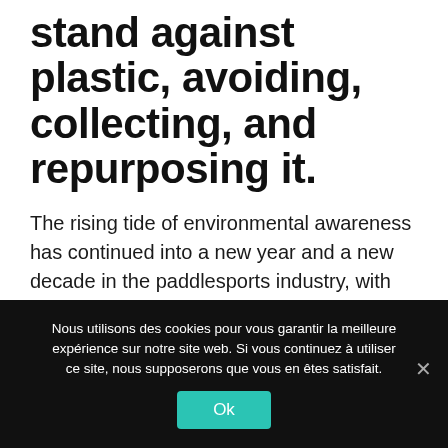stand against plastic, avoiding, collecting, and repurposing it.
The rising tide of environmental awareness has continued into a new year and a new decade in the paddlesports industry, with more environmentally-friendly products and a plastic-free approach to paddlesports that is changing the game for consumers and manufacturers alike....
Nous utilisons des cookies pour vous garantir la meilleure expérience sur notre site web. Si vous continuez à utiliser ce site, nous supposerons que vous en êtes satisfait. Ok